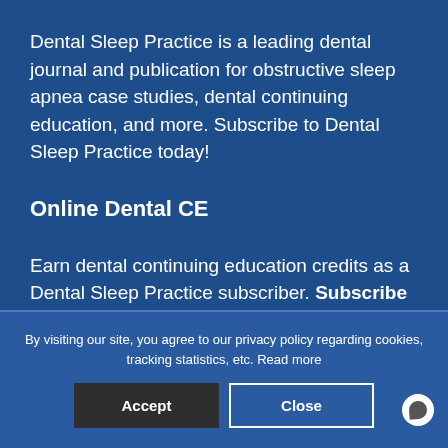Dental Sleep Practice is a leading dental journal and publication for obstructive sleep apnea case studies, dental continuing education, and more. Subscribe to Dental Sleep Practice today!
Online Dental CE
Earn dental continuing education credits as a Dental Sleep Practice subscriber. Subscribe Today
By visiting our site, you agree to our privacy policy regarding cookies, tracking statistics, etc. Read more